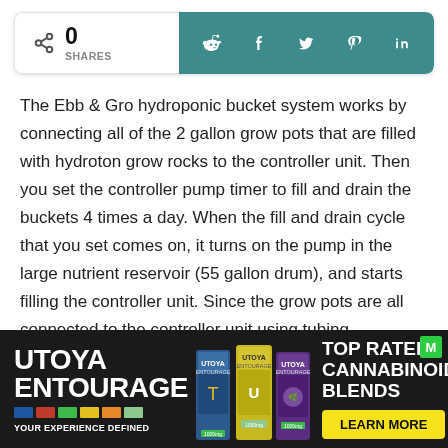[Figure (infographic): Social share bar with share count (0 SHARES) on white left panel and social media icons (Reddit, Facebook, Twitter, Pinterest, LinkedIn) on teal right panel]
The Ebb & Gro hydroponic bucket system works by connecting all of the 2 gallon grow pots that are filled with hydroton grow rocks to the controller unit. Then you set the controller pump timer to fill and drain the buckets 4 times a day. When the fill and drain cycle that you set comes on, it turns on the pump in the large nutrient reservoir (55 gallon drum), and starts filling the controller unit. Since the grow pots are all connected to the controller unit using tubing
[Figure (other): Utoya Entourage advertisement banner with logo, product images, and 'TOP RATED CANNABINOID BLENDS' text with a yellow 'LEARN MORE' button]